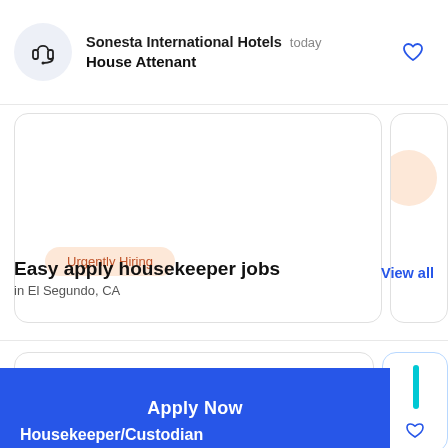Sonesta International Hotels  today | House Attenant
[Figure (screenshot): Job listing card showing Urgently Hiring badge]
Easy apply housekeeper jobs
in El Segundo, CA
View all
[Figure (screenshot): Bottom job card with logo circle and Apply Now button]
Apply Now
Housekeeper/Custodian